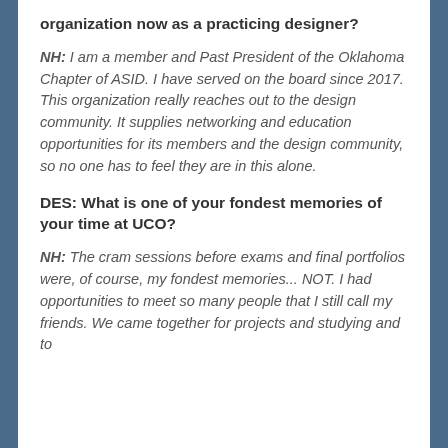organization now as a practicing designer?
NH:  I am a member and Past President of the Oklahoma Chapter of ASID. I have served on the board since 2017. This organization really reaches out to the design community. It supplies networking and education opportunities for its members and the design community, so no one has to feel they are in this alone.
DES:  What is one of your fondest memories of your time at UCO?
NH:  The cram sessions before exams and final portfolios were, of course, my fondest memories... NOT. I had opportunities to meet so many people that I still call my friends. We came together for projects and studying and to